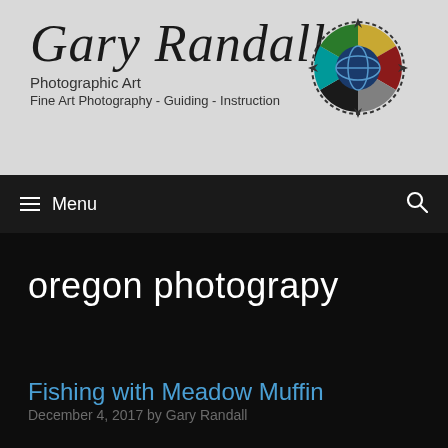[Figure (logo): Gary Randall Photographic Art header with cursive signature logo and colorful compass/shutter icon on grey background]
≡  Menu
oregon photograpy
Fishing with Meadow Muffin
December 4, 2017 by Gary Randall